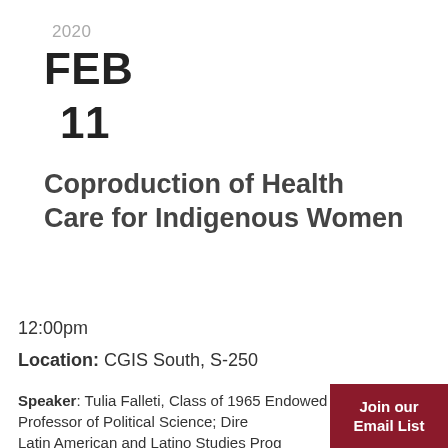2020
FEB
11
Coproduction of Health Care for Indigenous Women
12:00pm
Location: CGIS South, S-250
Speaker: Tulia Falleti, Class of 1965 Endowed Term Professor of Political Science; Director, Latin American and Latino Studies Program; Senior Fellow Leonard Davis Institute of Health Economics, University of Pennsylvania